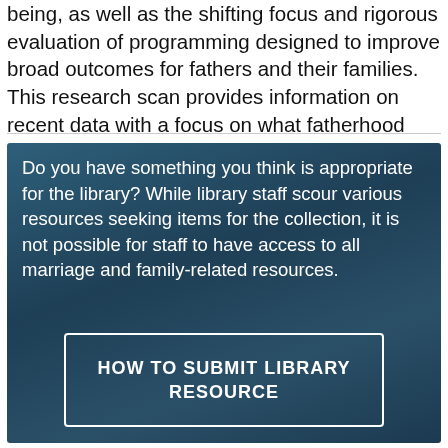being, as well as the shifting focus and rigorous evaluation of programming designed to improve broad outcomes for fathers and their families. This research scan provides information on recent data with a focus on what fatherhood looks like today. (Author introduction modified)
Do you have something you think is appropriate for the library? While library staff scour various resources seeking items for the collection, it is not possible for staff to have access to all marriage and family-related resources.
HOW TO SUBMIT LIBRARY RESOURCE